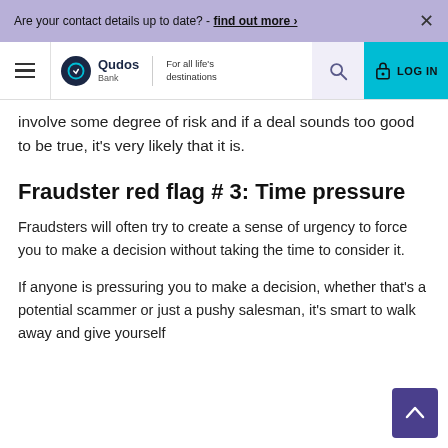Are your contact details up to date? - find out more >
[Figure (logo): Qudos Bank logo with tagline 'For all life's destinations', navigation bar with hamburger menu, search icon, and LOG IN button]
involve some degree of risk and if a deal sounds too good to be true, it's very likely that it is.
Fraudster red flag # 3: Time pressure
Fraudsters will often try to create a sense of urgency to force you to make a decision without taking the time to consider it.
If anyone is pressuring you to make a decision, whether that's a potential scammer or just a pushy salesman, it's smart to walk away and give yourself